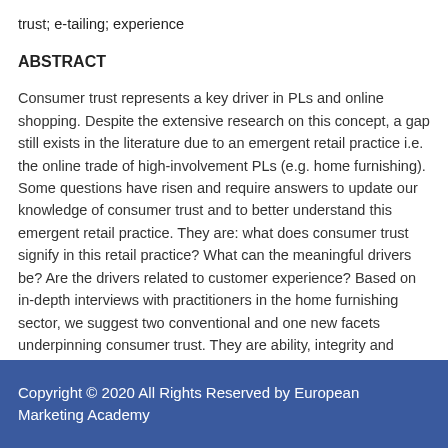trust; e-tailing; experience
ABSTRACT
Consumer trust represents a key driver in PLs and online shopping. Despite the extensive research on this concept, a gap still exists in the literature due to an emergent retail practice i.e. the online trade of high-involvement PLs (e.g. home furnishing). Some questions have risen and require answers to update our knowledge of consumer trust and to better understand this emergent retail practice. They are: what does consumer trust signify in this retail practice? What can the meaningful drivers be? Are the drivers related to customer experience? Based on in-depth interviews with practitioners in the home furnishing sector, we suggest two conventional and one new facets underpinning consumer trust. They are ability, integrity and authenticity. We also identify and suggest experiential
Copyright © 2020 All Rights Reserved by European Marketing Academy